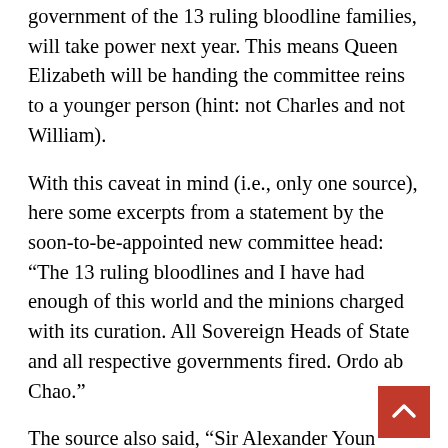government of the 13 ruling bloodline families, will take power next year. This means Queen Elizabeth will be handing the committee reins to a younger person (hint: not Charles and not William).
With this caveat in mind (i.e., only one source), here some excerpts from a statement by the soon-to-be-appointed new committee head: “The 13 ruling bloodlines and I have had enough of this world and the minions charged with its curation. All Sovereign Heads of State and all respective governments fired. Ordo ab Chao.”
The source also said, “Sir Alexander Young at MI6 is already briefed, along with the Queen